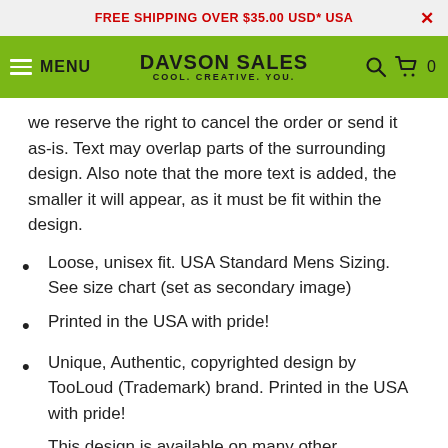FREE SHIPPING OVER $35.00 USD* USA
[Figure (logo): Davson Sales navigation bar with hamburger menu, MENU text, Davson Sales logo (COOL. CREATIVE. YOU.), search icon, cart icon and 0 count]
we reserve the right to cancel the order or send it as-is. Text may overlap parts of the surrounding design. Also note that the more text is added, the smaller it will appear, as it must be fit within the design.
Loose, unisex fit. USA Standard Mens Sizing. See size chart (set as secondary image)
Printed in the USA with pride!
Unique, Authentic, copyrighted design by TooLoud (Trademark) brand. Printed in the USA with pride!
This design is available on many other